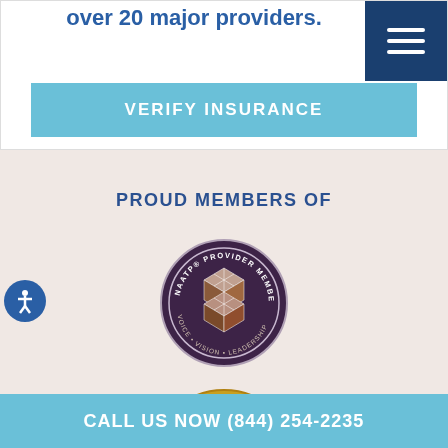over 20 major providers.
VERIFY INSURANCE
PROUD MEMBERS OF
[Figure (logo): NAATP Provider Member badge - circular seal with cube graphic, Voice Vision Leadership text]
[Figure (logo): The Joint Commission gold seal/badge, partially visible]
CALL US NOW (844) 254-2235